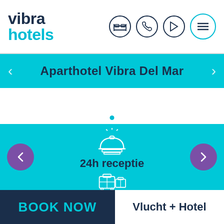[Figure (logo): Vibra Hotels logo with 'vibra' in dark navy and 'hotels' in cyan, with navigation icons including bed, phone, play button, and hamburger menu in circles]
Aparthotel Vibra Del Mar
[Figure (infographic): Cyan panel showing hotel amenity icon: reception bell with '24h receptie' label and luggage/baggage icon below, with purple carousel navigation arrows on sides]
BOOK NOW
Vlucht + Hotel